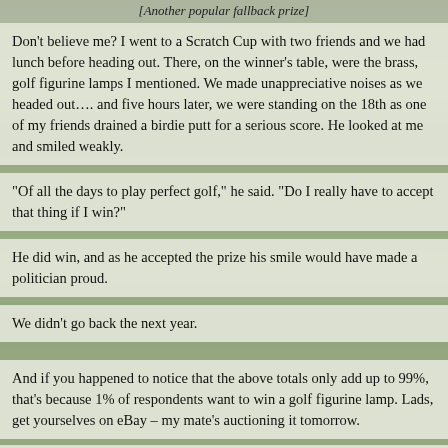[Another popular fallback prize]
Don’t believe me? I went to a Scratch Cup with two friends and we had lunch before heading out. There, on the winner’s table, were the brass, golf figurine lamps I mentioned. We made unappreciative noises as we headed out…. and five hours later, we were standing on the 18th as one of my friends drained a birdie putt for a serious score. He looked at me and smiled weakly.
“Of all the days to play perfect golf,” he said. “Do I really have to accept that thing if I win?”
He did win, and as he accepted the prize his smile would have made a politician proud.
We didn’t go back the next year.
And if you happened to notice that the above totals only add up to 99%, that’s because 1% of respondents want to win a golf figurine lamp. Lads, get yourselves on eBay – my mate’s auctioning it tomorrow.
Kevin Markham at 5:42 PM